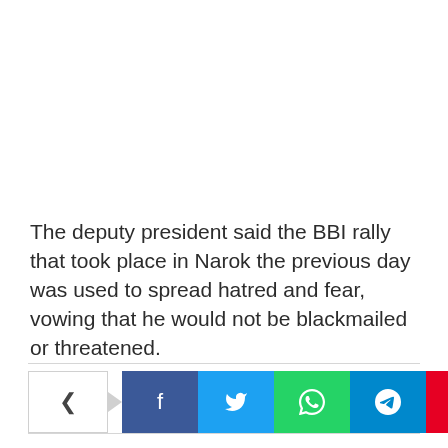The deputy president said the BBI rally that took place in Narok the previous day was used to spread hatred and fear, vowing that he would not be blackmailed or threatened.